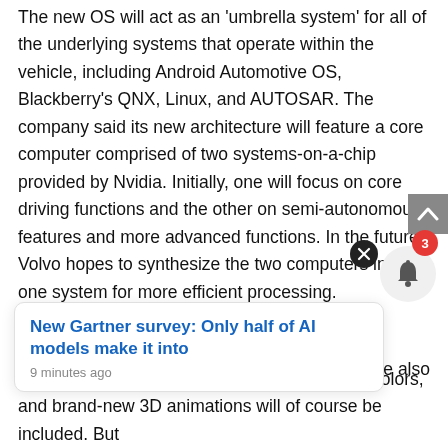The new OS will act as an 'umbrella system' for all of the underlying systems that operate within the vehicle, including Android Automotive OS, Blackberry's QNX, Linux, and AUTOSAR. The company said its new architecture will feature a core computer comprised of two systems-on-a-chip provided by Nvidia. Initially, one will focus on core driving functions and the other on semi-autonomous features and more advanced functions. In the future, Volvo hopes to synthesize the two computers into one system for more efficient processing.
Ultimately, Volvo wants Epic Games' help in
[Figure (screenshot): UI overlay elements: scroll-to-top arrow button (grey), close X button (black circle), notification bell icon with red badge showing '3', and a toast notification card.]
New Gartner survey: Only half of AI models make it into
9 minutes ago
es, while also
eal problem. Much sharper renderings, richer colors, and brand-new 3D animations will of course be included. But